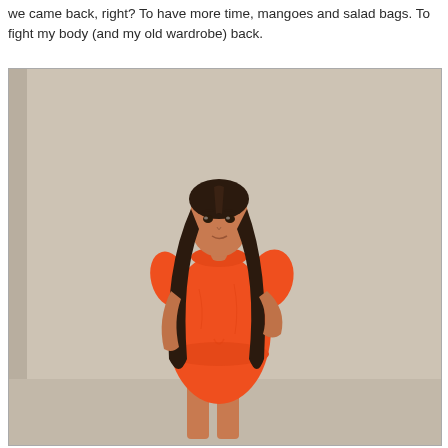we came back, right? To have more time, mangoes and salad bags. To fight my body (and my old wardrobe) back.
[Figure (photo): A young woman with long dark brown hair wearing a short bright orange/red t-shirt dress, standing with one hand on her hip against a light beige/cream wall background.]